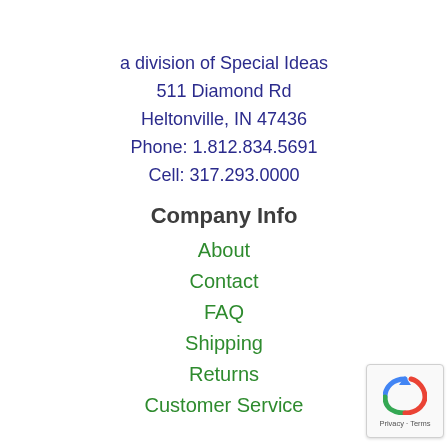a division of Special Ideas
511 Diamond Rd
Heltonville, IN 47436
Phone: 1.812.834.5691
Cell: 317.293.0000
Company Info
About
Contact
FAQ
Shipping
Returns
Customer Service